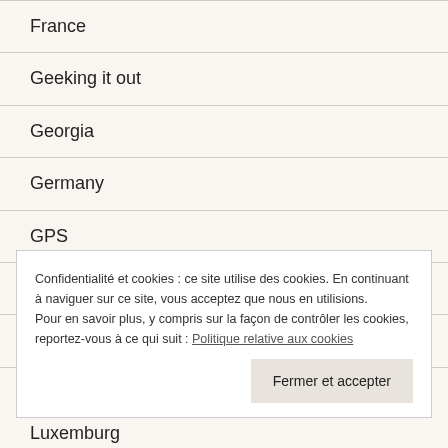France
Geeking it out
Georgia
Germany
GPS
Honduras
Hungary
Confidentialité et cookies : ce site utilise des cookies. En continuant à naviguer sur ce site, vous acceptez que nous en utilisions. Pour en savoir plus, y compris sur la façon de contrôler les cookies, reportez-vous à ce qui suit : Politique relative aux cookies
Luxemburg